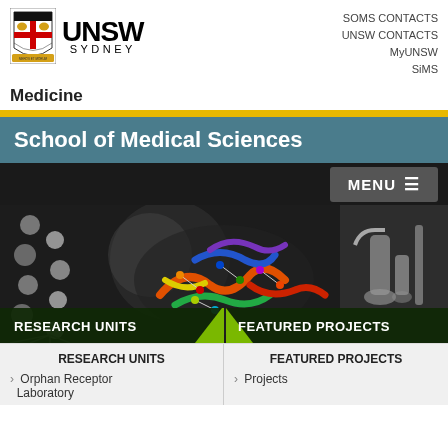[Figure (logo): UNSW Sydney logo with crest and text]
SOMS CONTACTS
UNSW CONTACTS
MyUNSW
SiMS
Medicine
School of Medical Sciences
[Figure (screenshot): MENU navigation button with hamburger icon on dark background]
[Figure (photo): Hero banner showing molecular structures, DNA helix, colorful protein model, and microscope laboratory equipment. Overlaid with RESEARCH UNITS and FEATURED PROJECTS banners.]
RESEARCH UNITS
FEATURED PROJECTS
Orphan Receptor Laboratory
Projects